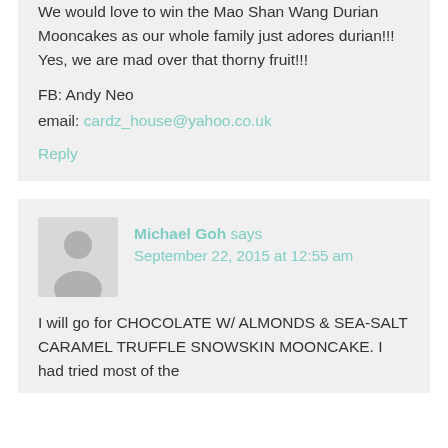We would love to win the Mao Shan Wang Durian Mooncakes as our whole family just adores durian!!! Yes, we are mad over that thorny fruit!!!
FB: Andy Neo
email: cardz_house@yahoo.co.uk
Reply
Michael Goh says
September 22, 2015 at 12:55 am
I will go for CHOCOLATE W/ ALMONDS & SEA-SALT CARAMEL TRUFFLE SNOWSKIN MOONCAKE. I had tried most of the